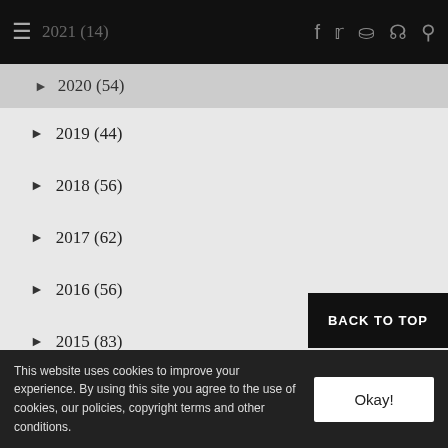2021 (14) [partially visible top nav]
► 2020 (54)
► 2019 (44)
► 2018 (56)
► 2017 (62)
► 2016 (56)
► 2015 (83)
► 2014 (131)
▼ 2013 (163)
December 2013 (18)
November 2013 (9)
October 2013 (31)
September 2013 (9)
August 2013 (10)
July 2013 (9) [partially visible]
BACK TO TOP
This website uses cookies to improve your experience. By using this site you agree to the use of cookies, our policies, copyright terms and other conditions. Okay!